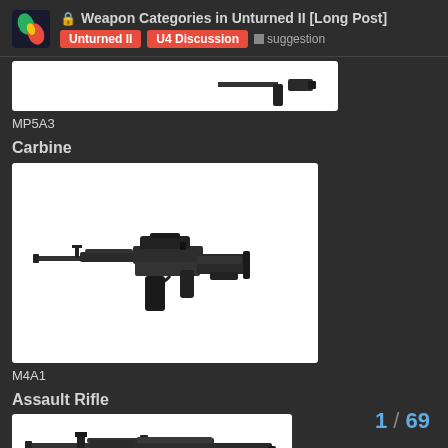🔒 Weapon Categories in Unturned II [Long Post] | Unturned II | U4 Discussion | suggestion
MP5A3
Carbine
[Figure (photo): M4A1 carbine firearm on white background]
M4A1
Assault Rifle
[Figure (photo): AK-style assault rifle on white background]
1 / 69